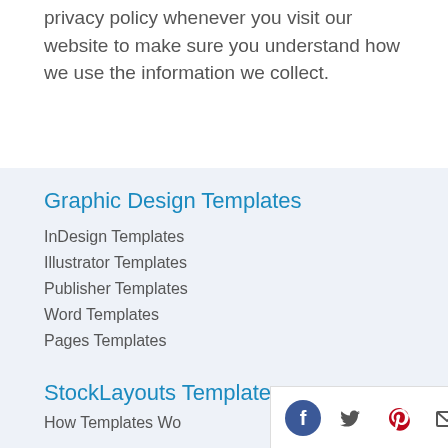privacy policy whenever you visit our website to make sure you understand how we use the information we collect.
Graphic Design Templates
InDesign Templates
Illustrator Templates
Publisher Templates
Word Templates
Pages Templates
StockLayouts Templates
How Templates Wo
[Figure (infographic): Social share icons: Facebook, Twitter, Pinterest, Email]